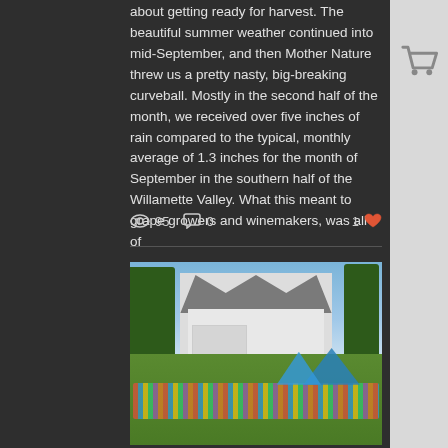about getting ready for harvest. The beautiful summer weather continued into mid-September, and then Mother Nature threw us a pretty nasty, big-breaking curveball. Mostly in the second half of the month, we received over five inches of rain compared to the typical, monthly average of 1.3 inches for the month of September in the southern half of the Willamette Valley. What this meant to grape growers and winemakers, was all of
95 views  0 comments  1 like
[Figure (photo): Outdoor group photo in front of a white farmhouse/winery with people sitting in colorful Adirondack chairs on a green lawn, blue sky background, and trees on either side. Blue market umbrellas visible on the right.]